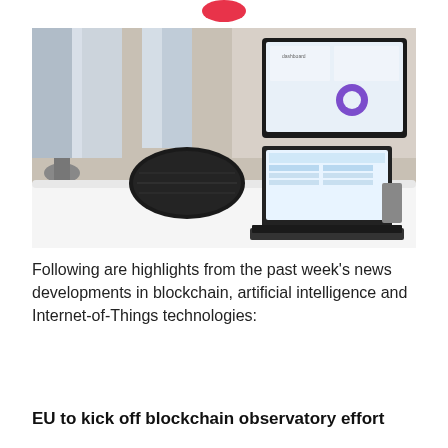[Figure (logo): Partial pink/red logo shape at top center of page]
[Figure (photo): Conference room scene with a round white table, a black Harman Kardon speaker, a Surface-style laptop/tablet, and a large monitor on the wall showing a dashboard with purple UI elements]
Following are highlights from the past week's news developments in blockchain, artificial intelligence and Internet-of-Things technologies:
EU to kick off blockchain observatory effort